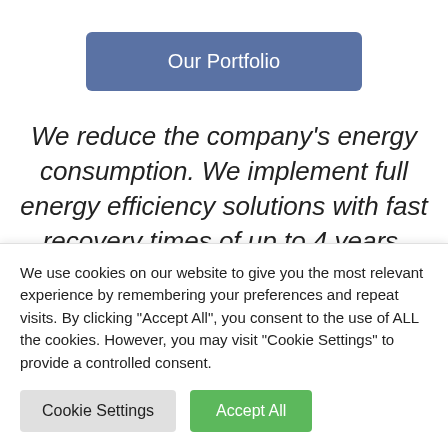[Figure (other): Button labeled 'Our Portfolio' with blue-gray background and white text, centered near top of page]
We reduce the company's energy consumption. We implement full energy efficiency solutions with fast recovery times of up to 4 years.
[Figure (other): White/light gray rounded card or content box with shadow, partially visible]
We use cookies on our website to give you the most relevant experience by remembering your preferences and repeat visits. By clicking "Accept All", you consent to the use of ALL the cookies. However, you may visit "Cookie Settings" to provide a controlled consent.
[Figure (other): Two buttons: 'Cookie Settings' (gray) and 'Accept All' (green)]